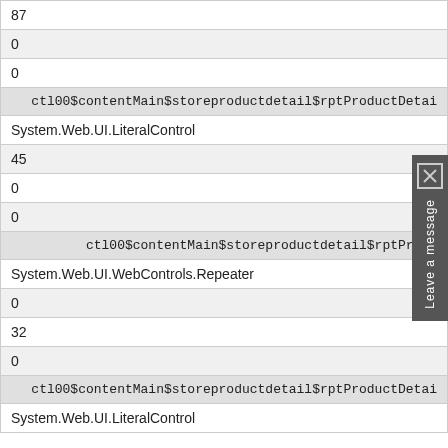| 87 |
| 0 |
| 0 |
| ctl00$contentMain$storeproductdetail$rptProductDetai |
| System.Web.UI.LiteralControl |
| 45 |
| 0 |
| 0 |
| ctl00$contentMain$storeproductdetail$rptProdu |
| System.Web.UI.WebControls.Repeater |
| 0 |
| 32 |
| 0 |
| ctl00$contentMain$storeproductdetail$rptProductDetai |
| System.Web.UI.LiteralControl |